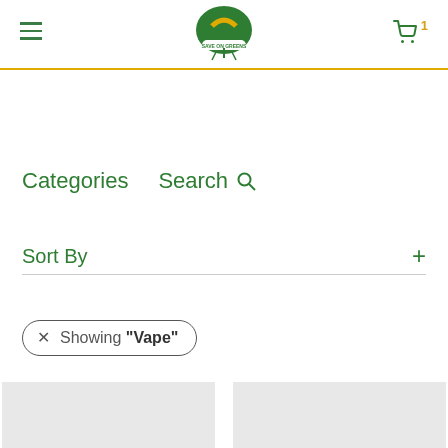[Figure (logo): Save On Greens logo — green cannabis leaf with banner text]
Categories   Search
Sort By
× Showing "Vape"
[Figure (photo): Product card placeholder (left)]
[Figure (photo): Product card placeholder (right)]